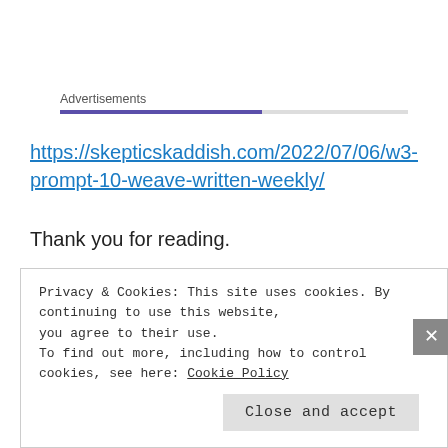Advertisements
https://skepticskaddish.com/2022/07/06/w3-prompt-10-weave-written-weekly/
Thank you for reading.
Stay Blessed! 💕
Posted in Free verse, Poem   Tagged "#blogging", "#love",
Privacy & Cookies: This site uses cookies. By continuing to use this website, you agree to their use.
To find out more, including how to control cookies, see here: Cookie Policy
Close and accept